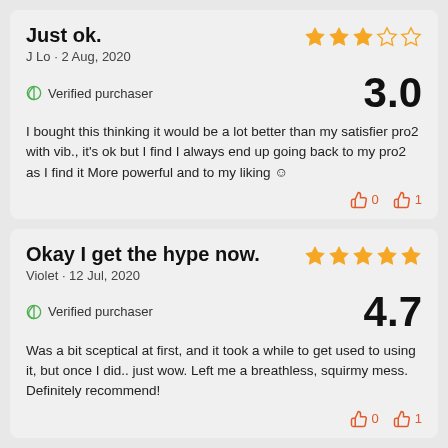Just ok.
J Lo · 2 Aug, 2020
Verified purchaser  3.0
I bought this thinking it would be a lot better than my satisfier pro2 with vib., it's ok but I find I always end up going back to my pro2 as I find it More powerful and to my liking ☺
👎 0  👍 1
Okay I get the hype now.
Violet · 12 Jul, 2020
Verified purchaser  4.7
Was a bit sceptical at first, and it took a while to get used to using it, but once I did.. just wow. Left me a breathless, squirmy mess. Definitely recommend!
👎 0  👍 1